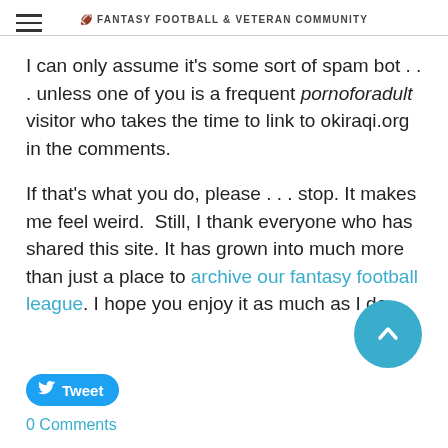FANTASY FOOTBALL & VETERAN COMMUNITY
I can only assume it's some sort of spam bot . . . unless one of you is a frequent pornoforadult visitor who takes the time to link to okiraqi.org in the comments.
If that's what you do, please . . . stop. It makes me feel weird. Still, I thank everyone who has shared this site. It has grown into much more than just a place to archive our fantasy football league. I hope you enjoy it as much as I do.
[Figure (illustration): Scroll-to-top circular teal button with upward chevron arrow]
Tweet
0 Comments